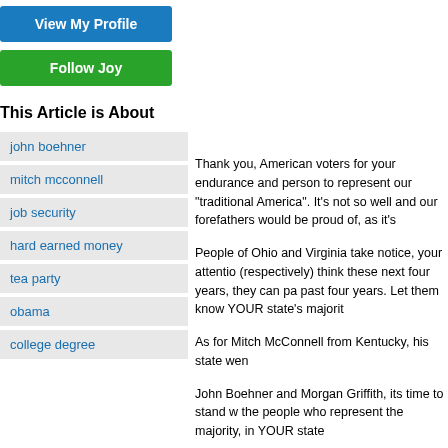View My Profile
Follow Joy
This Article is About
john boehner
mitch mcconnell
job security
hard earned money
tea party
obama
college degree
Thank you, American voters for your endurance and person to represent our "traditional America". It's not so well and our forefathers would be proud of, as it's
People of Ohio and Virginia take notice, your attentio (respectively) think these next four years, they can pa past four years. Let them know YOUR state's majorit
As for Mitch McConnell from Kentucky, his state wen
John Boehner and Morgan Griffith, its time to stand w the people who represent the majority, in YOUR state
All of us, especially those who stood long in line to vo call out and reprimand any elected official who does majority.
The majority of American's want a higher tax for the n college degree; we want our teachers, firefighters, po rightly rewarded for their service. This is the STUFF